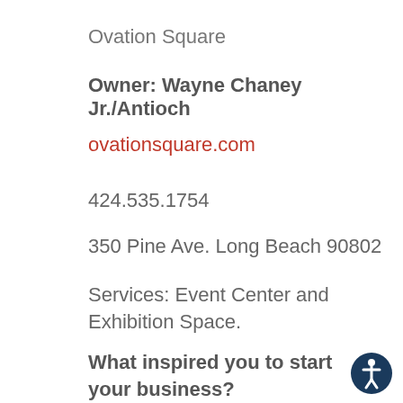Ovation Square
Owner: Wayne Chaney Jr./Antioch
ovationsquare.com
424.535.1754
350 Pine Ave. Long Beach 90802
Services: Event Center and Exhibition Space.
What inspired you to start your business?
[Figure (illustration): Accessibility icon: dark blue circle with white stick figure person symbol]